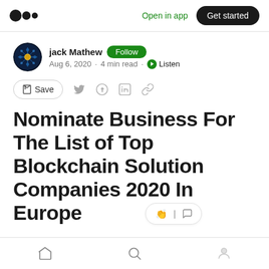Open in app  Get started
jack Mathew  Follow
Aug 6, 2020 · 4 min read · Listen
Save
Nominate Business For The List of Top Blockchain Solution Companies 2020 In Europe
Home  Search  Profile